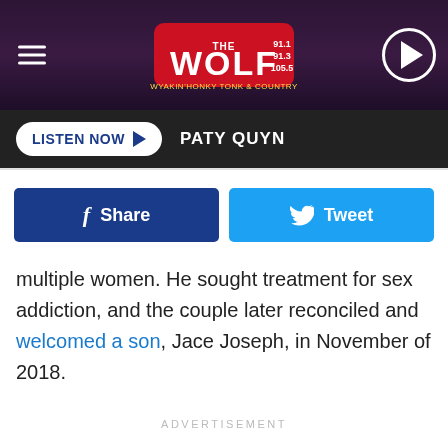[Figure (screenshot): The Wolf radio station header banner with logo showing 91.1, 91.3, 105.5 frequencies, hamburger menu icon on left, play button on right]
LISTEN NOW  PATY QUYN
[Figure (infographic): Facebook Share button and Twitter Tweet button side by side]
multiple women. He sought treatment for sex addiction, and the couple later reconciled and welcomed a son, Jace Joseph, in November of 2018.
ADVERTISEMENT